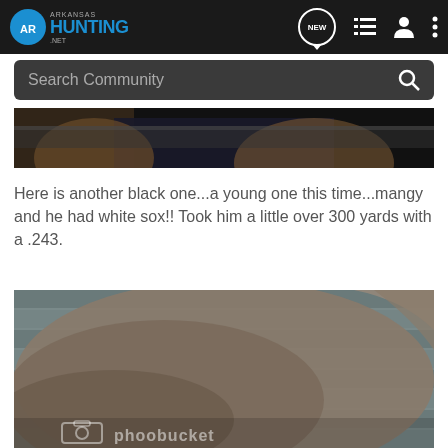Arkansas Hunting .net — Search Community
[Figure (photo): Partial cropped photo of a dark-colored animal in a vehicle truck bed, top edge only visible]
Here is another black one...a young one this time...mangy and he had white sox!! Took him a little over 300 yards with a .243.
[Figure (photo): Close-up photo of a gray/brown furred animal lying on wooden deck boards, with Photobucket watermark overlay]